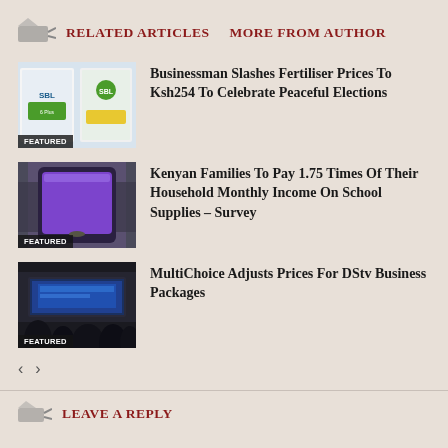RELATED ARTICLES   MORE FROM AUTHOR
[Figure (photo): Fertiliser bags product photo with SBL branding, white bags with green labels]
Businessman Slashes Fertiliser Prices To Ksh254 To Celebrate Peaceful Elections
[Figure (photo): Person holding a smartphone with purple app on screen]
Kenyan Families To Pay 1.75 Times Of Their Household Monthly Income On School Supplies – Survey
[Figure (photo): Stadium screen showing sports broadcast at night, crowd silhouettes in foreground]
MultiChoice Adjusts Prices For DStv Business Packages
LEAVE A REPLY